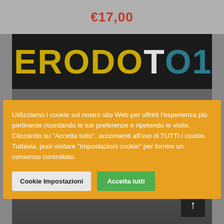€17,00
[Figure (screenshot): Magazine cover showing ERODOTO108 title in large gold/teal letters on dark background, with cover stories listed below including TERRAPROJECT: DI TERREMOTI E DI RINASCITE, LA MONTAGNA DI MEZZO HA NUOVE MAPPE, SHOOTING IN SARAJEVO, LA COSTA DEI TRABOCCHI IN ABRUZZO]
Utilizziamo i cookie sul nostro sito Web per offrirti l'esperienza più pertinente ricordando le tue preferenze e ripetendo le visite. Cliccando su "Accetta tutto", acconsenti all'uso di TUTTI i cookie. Tuttavia, puoi visitare "Impostazioni cookie" per fornire un consenso controllato.
Cookie Impostazioni
Accetta tutti